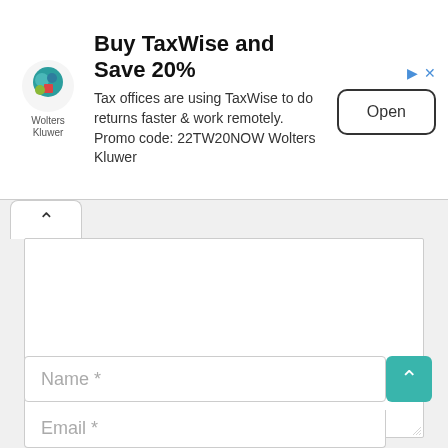[Figure (screenshot): Advertisement banner for TaxWise with Wolters Kluwer logo, headline 'Buy TaxWise and Save 20%', body text about tax offices, promo code, and an Open button]
Buy TaxWise and Save 20%
Tax offices are using TaxWise to do returns faster & work remotely. Promo code: 22TW20NOW Wolters Kluwer
Open
[Figure (screenshot): Web form interface with a collapse/expand tab button (chevron up), a large textarea input box, a Name * field, a teal scroll-to-top button, and an Email * field]
Name *
Email *